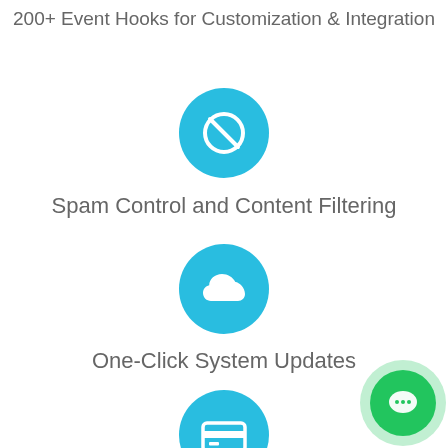200+ Event Hooks for Customization & Integration
[Figure (illustration): Blue circle icon with a ban/no symbol (circle with diagonal line) representing spam control]
Spam Control and Content Filtering
[Figure (illustration): Blue circle icon with a cloud symbol representing one-click system updates]
One-Click System Updates
[Figure (illustration): Blue circle icon with a credit card symbol representing payment/billing]
Multi-level Online Payment Processing Adaptations
[Figure (illustration): Green circle chat button with speech bubble dots in bottom right corner]